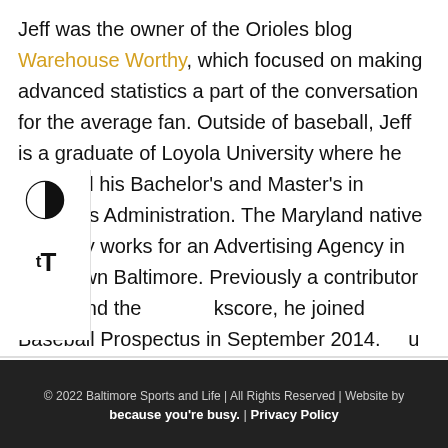Jeff was the owner of the Orioles blog Warehouse Worthy, which focused on making advanced statistics a part of the conversation for the average fan. Outside of baseball, Jeff is a graduate of Loyola University where he received his Bachelor's and Master's in Business Administration. The Maryland native currently works for an Advertising Agency in downtown Baltimore. Previously a contributor to Beyond the Boxscore, he joined Baseball Prospectus in September 2014. You can reach him at jeff.long@baltimoresportsandlife.com.
© 2022 Baltimore Sports and Life | All Rights Reserved | Website by because you're busy. | Privacy Policy